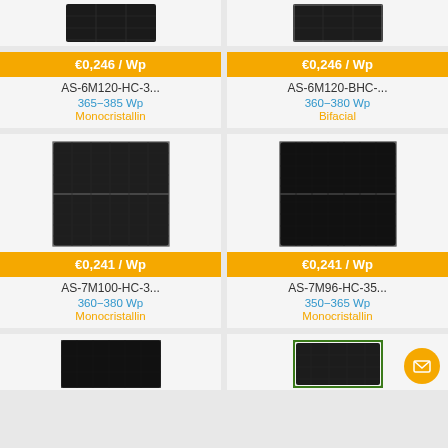[Figure (photo): Top partial view of two solar panel product cards showing panel images (cropped at top of page)]
€0,246 / Wp
€0,246 / Wp
AS-6M120-HC-3...
365−385 Wp
Monocristallin
AS-6M120-BHC-...
360−380 Wp
Bifacial
[Figure (photo): Solar panel product image left - half-cut monocristallin panel, dark with grid lines, portrait orientation]
[Figure (photo): Solar panel product image right - half-cut monocristallin panel, all-black, portrait orientation]
€0,241 / Wp
€0,241 / Wp
AS-7M100-HC-3...
360−380 Wp
Monocristallin
AS-7M96-HC-35...
350−365 Wp
Monocristallin
[Figure (photo): Bottom partial view of two more solar panel product cards (cropped at bottom of page) - left: all black panel, right: panel with green frame]